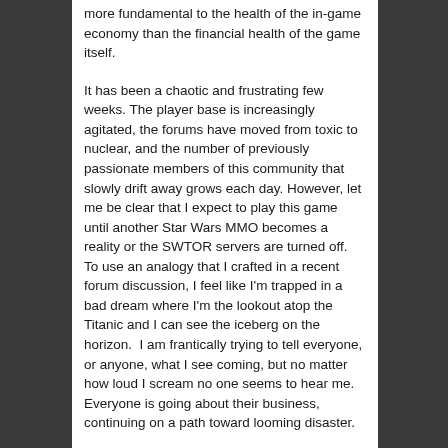more fundamental to the health of the in-game economy than the financial health of the game itself.
It has been a chaotic and frustrating few weeks. The player base is increasingly agitated, the forums have moved from toxic to nuclear, and the number of previously passionate members of this community that slowly drift away grows each day. However, let me be clear that I expect to play this game until another Star Wars MMO becomes a reality or the SWTOR servers are turned off.  To use an analogy that I crafted in a recent forum discussion, I feel like I'm trapped in a bad dream where I'm the lookout atop the Titanic and I can see the iceberg on the horizon.  I am frantically trying to tell everyone, or anyone, what I see coming, but no matter how loud I scream no one seems to hear me.  Everyone is going about their business, continuing on a path toward looming disaster.
So why write now? And what in the world does that title mean?